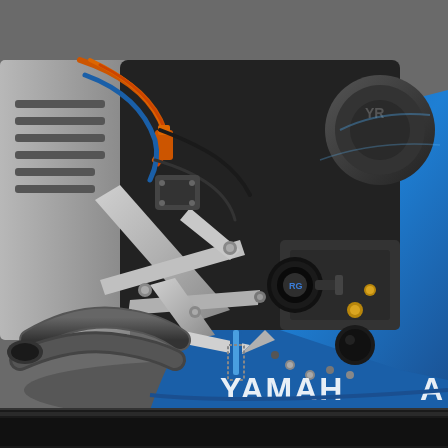[Figure (photo): Close-up photograph of a Yamaha motorcycle engine bay showing frame, footpeg brackets, engine cases, an R&G frame slider/crash protector (black cylindrical puck), exhaust pipes, suspension components, orange wiring/cables, and blue Yamaha fairing with 'YAMAHA' lettering visible at bottom right.]
[Figure (photo): Dark strip at the bottom of the page, partially visible, appears to be another image or a dark background strip.]